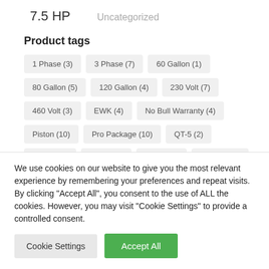7.5 HP
Uncategorized
Product tags
1 Phase (3)
3 Phase (7)
60 Gallon (1)
80 Gallon (5)
120 Gallon (4)
230 Volt (7)
460 Volt (3)
EWK (4)
No Bull Warranty (4)
Piston (10)
Pro Package (10)
QT-5 (2)
QT-7.5 (3)
QT-10 (2)
QT-15 (2)
Quincy (10)
We use cookies on our website to give you the most relevant experience by remembering your preferences and repeat visits. By clicking "Accept All", you consent to the use of ALL the cookies. However, you may visit "Cookie Settings" to provide a controlled consent.
Cookie Settings | Accept All